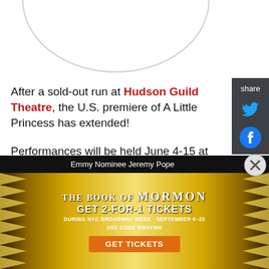[Figure (illustration): Partial circle/arc decoration at top of page]
After a sold-out run at Hudson Guild Theatre, the U.S. premiere of A Little Princess has extended!
Performances will be held June 4-15 at The Alice Griffin Jewel Box Theatre at The Pershing Square Signature Center, located at 480 West 42nd Street, New York City.
Based on the beloved novel by Frances Hodgson
[Figure (screenshot): Share sidebar with Twitter and Facebook icons on dark background]
Emmy Nominee Jeremy Pope
[Figure (infographic): The Book of Mormon advertisement banner: GET 2-FOR-1 TICKETS DURING NYC BROADWAY WEEK · SEPTEMBER 6–25 USE CODE BWAYWK — GET TICKETS button]